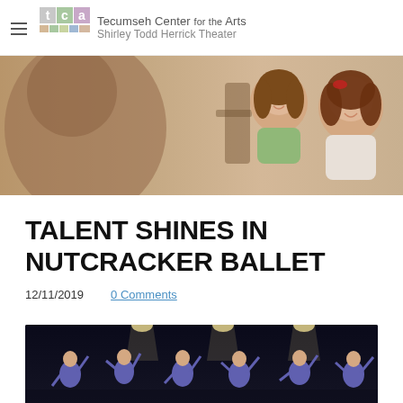Tecumseh Center for the Arts — Shirley Todd Herrick Theater
[Figure (photo): Two smiling young girls with long brown hair laughing together, viewed from behind a third person in the foreground]
TALENT SHINES IN NUTCRACKER BALLET
12/11/2019    0 Comments
[Figure (photo): Ballet dancers in blue costumes performing on a dark stage with spotlights overhead, captured mid-movement]